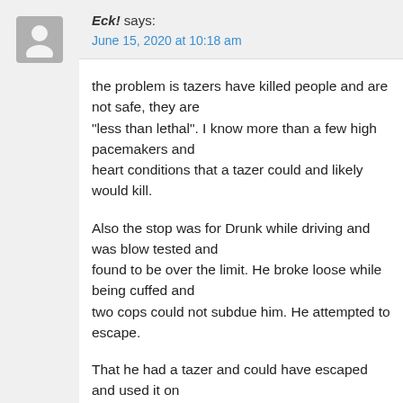Eck! says:
June 15, 2020 at 10:18 am
the problem is tazers have killed people and are not safe, they are "less than lethal". I know more than a few high pacemakers and heart conditions that a tazer could and likely would kill.
Also the stop was for Drunk while driving and was blow tested and found to be over the limit. He broke loose while being cuffed and two cops could not subdue him. He attempted to escape.
That he had a tazer and could have escaped and used it on anyone is also a further issue.